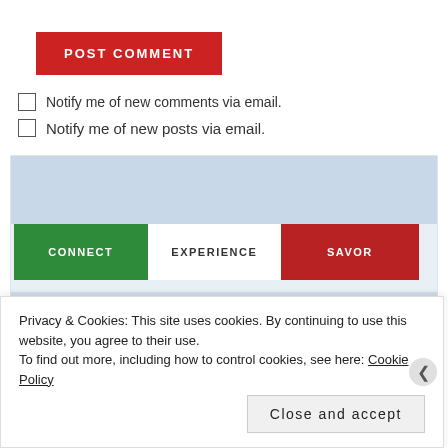[Figure (screenshot): Red POST COMMENT button]
Notify me of new comments via email.
Notify me of new posts via email.
[Figure (screenshot): Website screenshot showing navigation bar with CONNECT (green), EXPERIENCE (white), SAVOR (red) buttons, light blue background, and partial cursive Lisa's text at the bottom]
Privacy & Cookies: This site uses cookies. By continuing to use this website, you agree to their use.
To find out more, including how to control cookies, see here: Cookie Policy
[Figure (screenshot): Close and accept button]